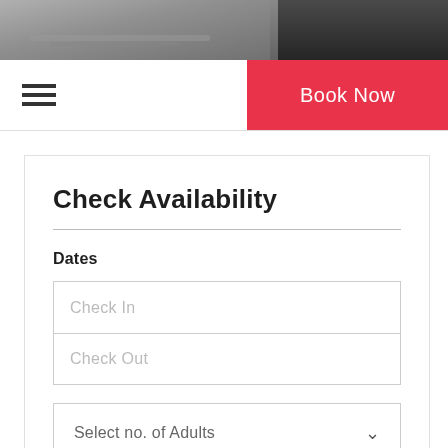[Figure (photo): Hero image of what appears to be a road or path with wooden/dark structures on the right side]
[Figure (other): Navigation bar with hamburger menu icon on the left and a red 'Book Now' button on the right]
Check Availability
Dates
Check In
Check Out
Select no. of Adults